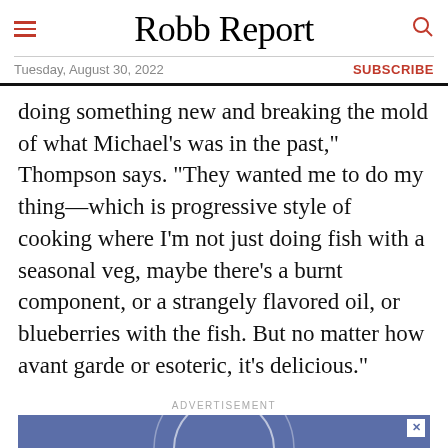Robb Report
Tuesday, August 30, 2022 | SUBSCRIBE
doing something new and breaking the mold of what Michael’s was in the past,” Thompson says. “They wanted me to do my thing—which is progressive style of cooking where I’m not just doing fish with a seasonal veg, maybe there’s a burnt component, or a strangely flavored oil, or blueberries with the fish. But no matter how avant garde or esoteric, it’s delicious.”
ADVERTISEMENT
[Figure (other): Advertisement banner with blue background showing circular design element — Robb Report 672 Wine Club, JOIN THE CLUB button in dark red]